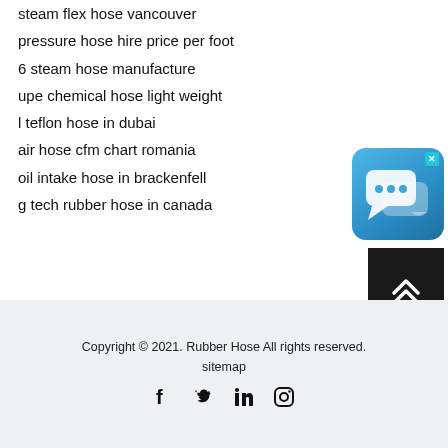steam flex hose vancouver
pressure hose hire price per foot
6 steam hose manufacture
upe chemical hose light weight
l teflon hose in dubai
air hose cfm chart romania
oil intake hose in brackenfell
g tech rubber hose in canada
[Figure (screenshot): Chat widget icon — blue rounded square with two speech bubbles and a close X button]
[Figure (other): Dark square scroll-to-top button with double chevron arrow]
Copyright © 2021. Rubber Hose All rights reserved.
sitemap